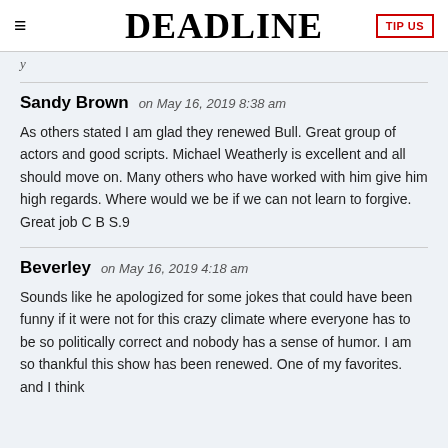≡  DEADLINE  TIP US
y
Sandy Brown on May 16, 2019 8:38 am

As others stated I am glad they renewed Bull. Great group of actors and good scripts. Michael Weatherly is excellent and all should move on. Many others who have worked with him give him high regards. Where would we be if we can not learn to forgive. Great job C B S.9
Beverley on May 16, 2019 4:18 am

Sounds like he apologized for some jokes that could have been funny if it were not for this crazy climate where everyone has to be so politically correct and nobody has a sense of humor. I am so thankful this show has been renewed. One of my favorites. and I think